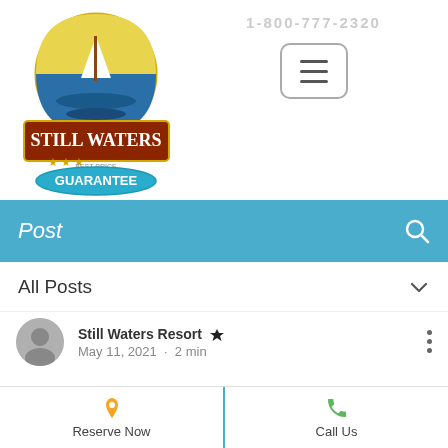[Figure (logo): Still Waters Lakefront Resort logo with Best Price Guarantee badge and Book Direct ribbon]
1-800-777-2320
[Figure (other): Hamburger menu button]
Post
All Posts
Still Waters Resort  May 11, 2021 · 2 min
World Famous Harlem
Reserve Now
Call Us